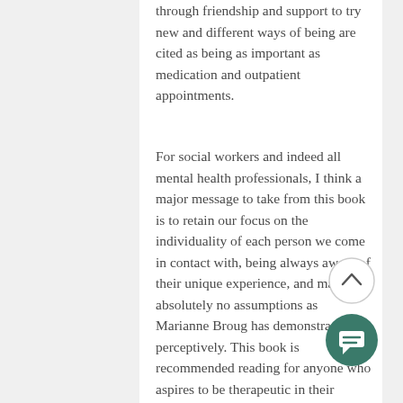through friendship and support to try new and different ways of being are cited as being as important as medication and outpatient appointments.
For social workers and indeed all mental health professionals, I think a major message to take from this book is to retain our focus on the individuality of each person we come in contact with, being always aware of their unique experience, and making absolutely no assumptions as Marianne Broug has demonstrated so perceptively. This book is recommended reading for anyone who aspires to be therapeutic in their interactions, matter how long they may have worked in the field of mental health and is also a good read for students starting out on that journey.